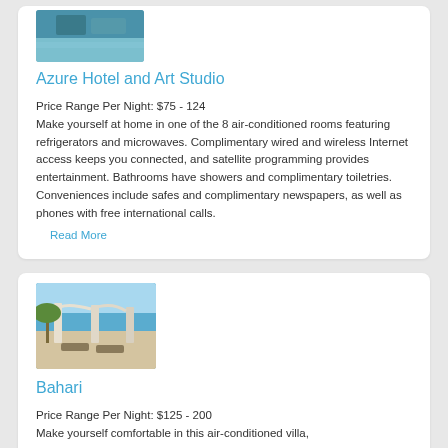[Figure (photo): Aerial or scenic photo of Azure Hotel and Art Studio (partial, top cropped)]
Azure Hotel and Art Studio
Price Range Per Night: $75 - 124
Make yourself at home in one of the 8 air-conditioned rooms featuring refrigerators and microwaves. Complimentary wired and wireless Internet access keeps you connected, and satellite programming provides entertainment. Bathrooms have showers and complimentary toiletries. Conveniences include safes and complimentary newspapers, as well as phones with free international calls.
Read More
[Figure (photo): Photo of Bahari hotel showing a beach patio area with lounge chairs, palm trees, and ocean view.]
Bahari
Price Range Per Night: $125 - 200
Make yourself comfortable in this air-conditioned villa,